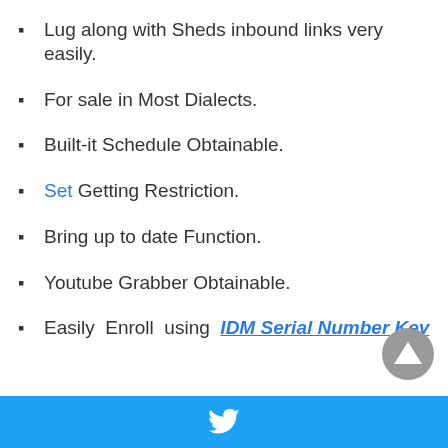Lug along with Sheds inbound links very easily.
For sale in Most Dialects.
Built-it Schedule Obtainable.
Set Getting Restriction.
Bring up to date Function.
Youtube Grabber Obtainable.
Easily Enroll using IDM Serial Number Key
Twitter share button footer bar